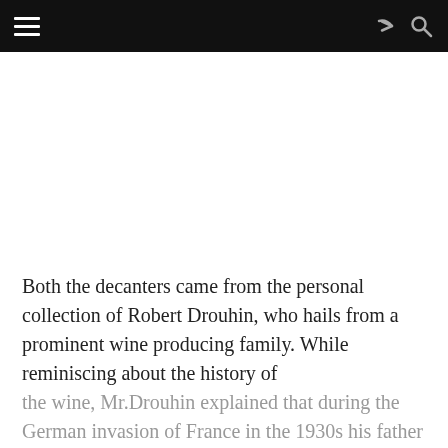[Figure (photo): Large image area (white/blank in this crop) taking up the upper portion of the page below a black navigation bar]
Both the decanters came from the personal collection of Robert Drouhin, who hails from a prominent wine producing family. While reminiscing about the history of the wine, Mr.Drouhin explained that during the German invasion of France in the 1930s his father had created a